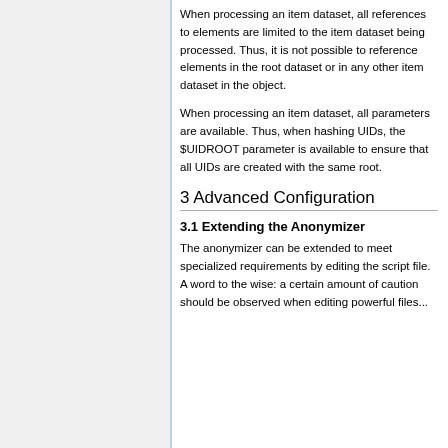When processing an item dataset, all references to elements are limited to the item dataset being processed. Thus, it is not possible to reference elements in the root dataset or in any other item dataset in the object.
When processing an item dataset, all parameters are available. Thus, when hashing UIDs, the $UIDROOT parameter is available to ensure that all UIDs are created with the same root.
3 Advanced Configuration
3.1 Extending the Anonymizer
The anonymizer can be extended to meet specialized requirements by editing the script file. A word to the wise: a certain amount of caution should be observed when editing powerful files...